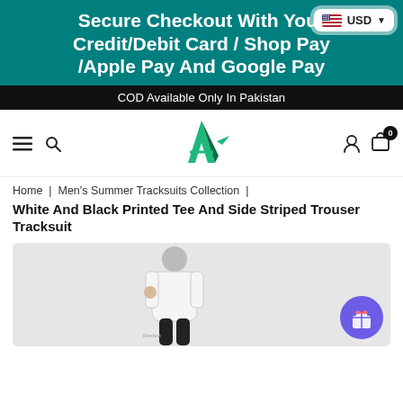Secure Checkout With Your Credit/Debit Card / Shop Pay /Apple Pay And Google Pay
COD Available Only In Pakistan
[Figure (logo): Green letter A logo for the brand]
Home | Men's Summer Tracksuits Collection |
White And Black Printed Tee And Side Striped Trouser Tracksuit
[Figure (photo): Male model wearing a white Reebok printed tee, posing with hand near face, light grey background]